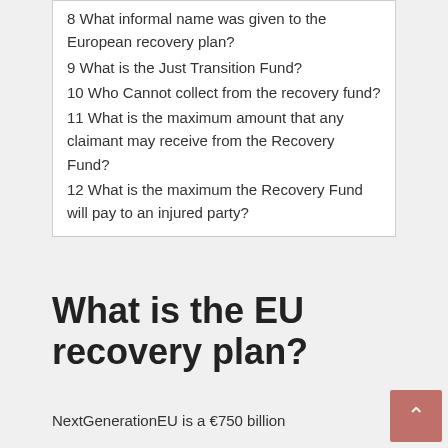8 What informal name was given to the European recovery plan?
9 What is the Just Transition Fund?
10 Who Cannot collect from the recovery fund?
11 What is the maximum amount that any claimant may receive from the Recovery Fund?
12 What is the maximum the Recovery Fund will pay to an injured party?
What is the EU recovery plan?
NextGenerationEU is a €750 billion